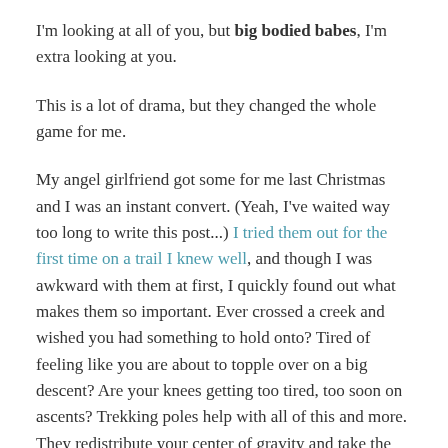I'm looking at all of you, but big bodied babes, I'm extra looking at you.
This is a lot of drama, but they changed the whole game for me.
My angel girlfriend got some for me last Christmas and I was an instant convert. (Yeah, I've waited way too long to write this post...) I tried them out for the first time on a trail I knew well, and though I was awkward with them at first, I quickly found out what makes them so important. Ever crossed a creek and wished you had something to hold onto? Tired of feeling like you are about to topple over on a big descent? Are your knees getting too tired, too soon on ascents? Trekking poles help with all of this and more. They redistribute your center of gravity and take the weight off of places that tend to buckle under pressure. They also just plain help you keep your balance, make your steps more even and may increase your speed. You will likely go longer and harder! Plus,